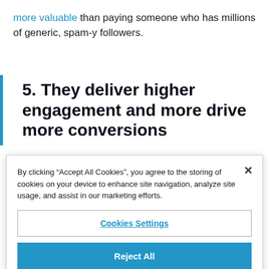more valuable than paying someone who has millions of generic, spam-y followers.
5. They deliver higher engagement and more drive more conversions
By clicking “Accept All Cookies”, you agree to the storing of cookies on your device to enhance site navigation, analyze site usage, and assist in our marketing efforts.
Cookies Settings
Reject All
Accept All Cookies